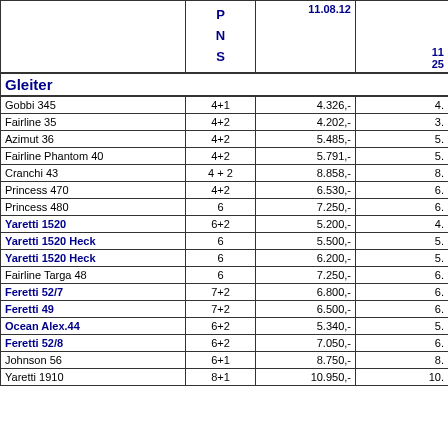|  | P N S | 11.08.12 |  |
| --- | --- | --- | --- |
| Gleiter |  |  |  |
| Gobbi 345 | 4+1 | 4.326,- | 4. |
| Fairline 35 | 4+2 | 4.202,- | 3. |
| Azimut 36 | 4+2 | 5.485,- | 5. |
| Fairline Phantom 40 | 4+2 | 5.791,- | 5. |
| Cranchi 43 | 4 + 2 | 8.858,- | 8. |
| Princess 470 | 4+2 | 6.530,- | 6. |
| Princess 480 | 6 | 7.250,- | 6. |
| Yaretti 1520 | 6+2 | 5.200,- | 4. |
| Yaretti 1520 Heck | 6 | 5.500,- | 5. |
| Yaretti 1520 Heck | 6 | 6.200,- | 5. |
| Fairline Targa 48 | 6 | 7.250,- | 6. |
| Feretti 52/7 | 7+2 | 6.800,- | 6. |
| Feretti 49 | 7+2 | 6.500,- | 6. |
| Ocean Alex.44 | 6+2 | 5.340,- | 5. |
| Feretti 52/8 | 6+2 | 7.050,- | 6. |
| Johnson 56 | 6+1 | 8.750,- | 8. |
| Yaretti 1910 | 8+1 | 10.950,- | 10. |